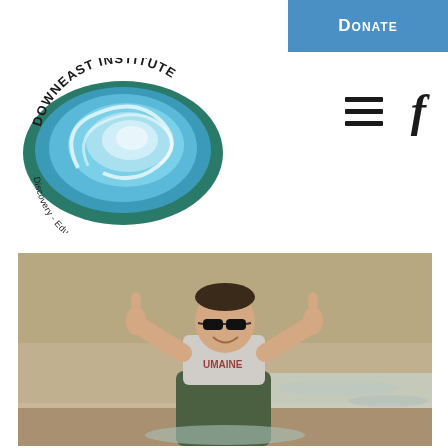Donate
[Figure (logo): Downeast Institute logo — circular swirl design in blue and teal with text 'Downeast Institute' around the top and 'Discovery - Education - Innovation' around the bottom]
[Figure (other): Hamburger menu icon (three horizontal lines) and Facebook 'f' icon navigation elements]
[Figure (photo): Man wearing dark sunglasses, a gray t-shirt with 'UMAINE' text, and green fishing waders, giving two thumbs up while standing in shallow water on a mudflat or tidal flat. The background shows sandy/muddy shoreline and water.]